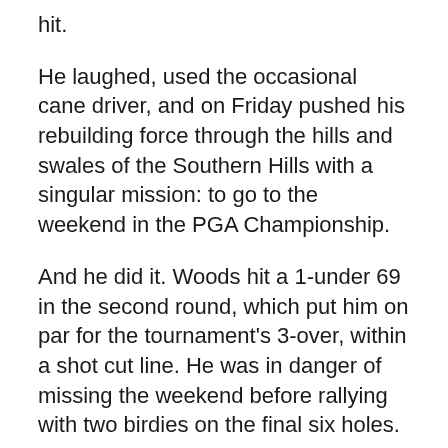hit.
He laughed, used the occasional cane driver, and on Friday pushed his rebuilding force through the hills and swales of the Southern Hills with a singular mission: to go to the weekend in the PGA Championship.
And he did it. Woods hit a 1-under 69 in the second round, which put him on par for the tournament's 3-over, within a shot cut line. He was in danger of missing the weekend before rallying with two birdies on the final six holes.
“You won the tournament if you missed the cut. I’ve won tournaments – not major championships, but I’ve won tournaments in